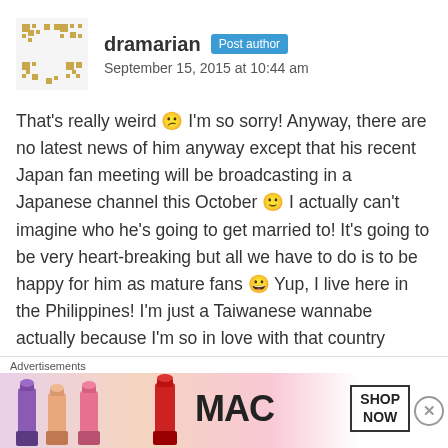dramarian | Post author | September 15, 2015 at 10:44 am
That's really weird 😕 I'm so sorry! Anyway, there are no latest news of him anyway except that his recent Japan fan meeting will be broadcasting in a Japanese channel this October 🙂 I actually can't imagine who he's going to get married to! It's going to be very heart-breaking but all we have to do is to be happy for him as mature fans 😀 Yup, I live here in the Philippines! I'm just a Taiwanese wannabe actually because I'm so in love with that country haha! His nose is probably one of his best characteristics but I know he's still pure Taiwanese. Normally Asians aren't known to have sharp noses but it doesn't necessarily mean that the
Advertisements